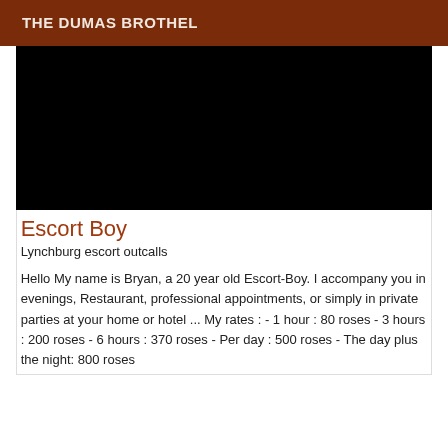THE DUMAS BROTHEL
[Figure (photo): Black rectangle placeholder image]
Escort Boy
Lynchburg escort outcalls
Hello My name is Bryan, a 20 year old Escort-Boy. I accompany you in evenings, Restaurant, professional appointments, or simply in private parties at your home or hotel ... My rates : - 1 hour : 80 roses - 3 hours : 200 roses - 6 hours : 370 roses - Per day : 500 roses - The day plus the night: 800 roses